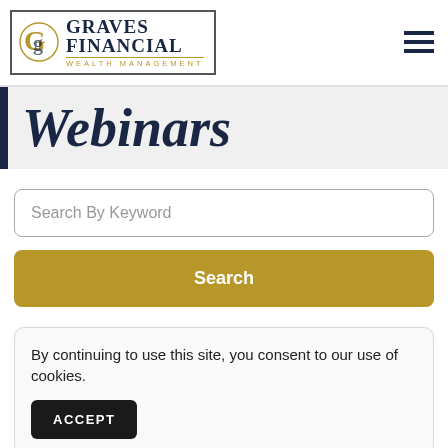[Figure (logo): Graves Financial Wealth Management logo with stylized G monogram in gold and navy, inside a rectangular border]
Webinars
Search By Keyword
Search
By continuing to use this site, you consent to our use of cookies.
ACCEPT